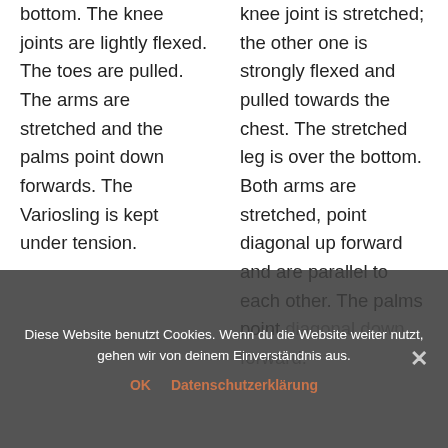bottom. The knee joints are lightly flexed. The toes are pulled. The arms are stretched and the palms point down forwards. The Variosling is kept under tension.
knee joint is stretched; the other one is strongly flexed and pulled towards the chest. The stretched leg is over the bottom. Both arms are stretched, point diagonal up forward and are parallel to each other. The palms point diagonal down forward.
Diese Website benutzt Cookies. Wenn du die Website weiter nutzt, gehen wir von deinem Einverständnis aus.
OK   Datenschutzerklärung